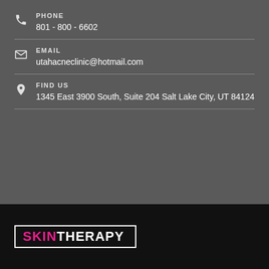PHONE
801 - 800 - 6602
EMAIL
utahacneclinic@hotmail.com
FIND US
1345 East 3900 South, Suite 204 Salt Lake City, UT 84124
[Figure (logo): Skin Therapy logo with pink SKIN and white THERAPY text inside a white bordered box on black background]